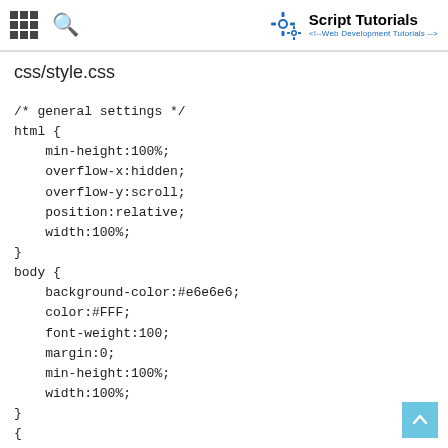Script Tutorials <!--Web Development Tutorials-->
css/style.css
/* general settings */
html {
    min-height:100%;
    overflow-x:hidden;
    overflow-y:scroll;
    position:relative;
    width:100%;
}
body {
    background-color:#e6e6e6;
    color:#FFF;
    font-weight:100;
    margin:0;
    min-height:100%;
    width:100%;
}
{